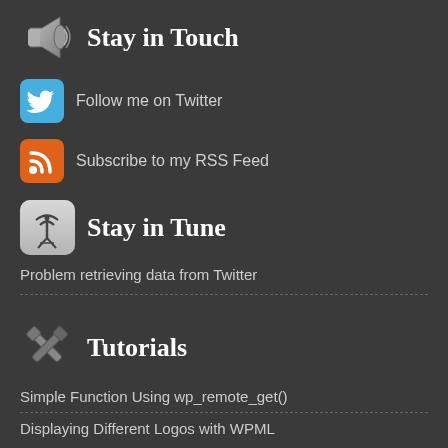Stay in Touch
Follow me on Twitter
Subscribe to my RSS Feed
Stay in Tune
Problem retrieving data from Twitter
Tutorials
Simple Function Using wp_remote_get()
Displaying Different Logos with WPML